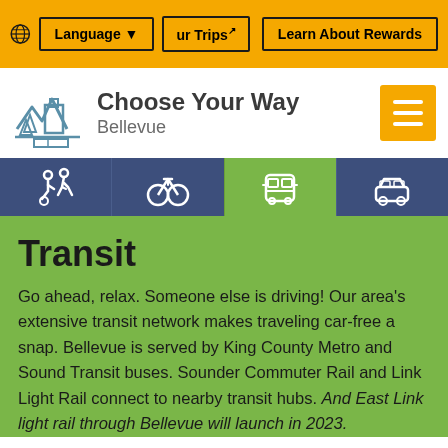Language ▼  [Your Trips]  Learn About Rewards
[Figure (logo): Choose Your Way Bellevue logo with tree and building icon]
[Figure (infographic): Navigation mode icons bar: walking/wheelchair, bicycle, bus (active/green), car — on dark blue and green backgrounds]
Transit
Go ahead, relax. Someone else is driving! Our area's extensive transit network makes traveling car-free a snap. Bellevue is served by King County Metro and Sound Transit buses. Sounder Commuter Rail and Link Light Rail connect to nearby transit hubs. And East Link light rail through Bellevue will launch in 2023.